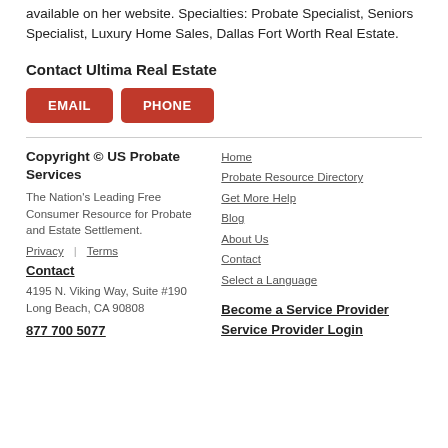available on her website. Specialties: Probate Specialist, Seniors Specialist, Luxury Home Sales, Dallas Fort Worth Real Estate.
Contact Ultima Real Estate
EMAIL   PHONE
Copyright © US Probate Services
The Nation's Leading Free Consumer Resource for Probate and Estate Settlement.
Privacy | Terms
Contact
4195 N. Viking Way, Suite #190
Long Beach, CA 90808
877 700 5077
Home
Probate Resource Directory
Get More Help
Blog
About Us
Contact
Select a Language
Become a Service Provider
Service Provider Login